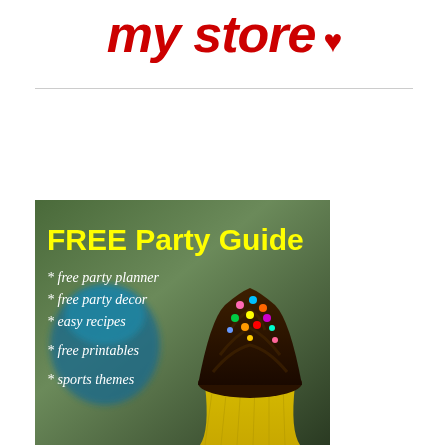my store ♥
[Figure (illustration): FREE Party Guide promotional image with a chocolate cupcake with colorful sprinkles on a blurred background. Text lists: free party planner, free party decor, easy recipes, free printables, sports themes.]